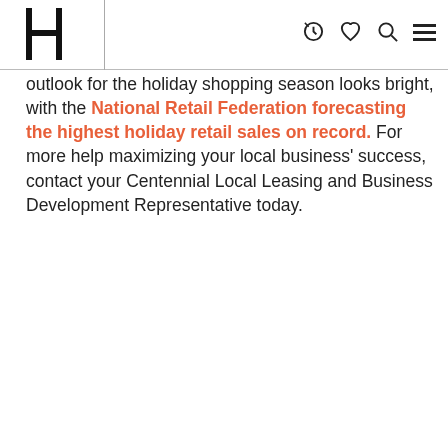[Logo: H] [nav icons: history, heart, search, menu]
outlook for the holiday shopping season looks bright, with the National Retail Federation forecasting the highest holiday retail sales on record. For more help maximizing your local business' success, contact your Centennial Local Leasing and Business Development Representative today.